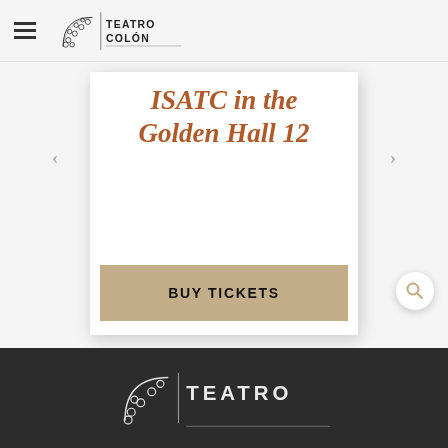Teatro Colón
ISATC in the Golden Hall 12
BUY TICKETS
Teatro Colón footer logo